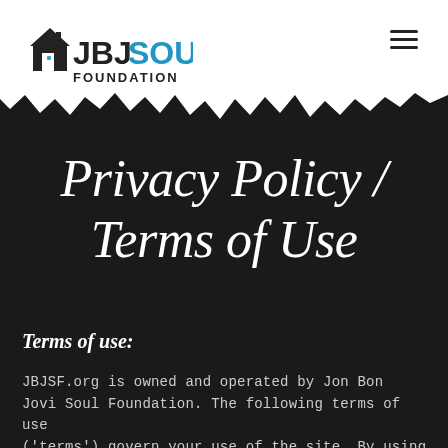[Figure (logo): JBJ Soul Foundation logo with house/building icon. 'JBJ' in black bold letters, 'SOUL' in blue bold letters, 'FOUNDATION' in smaller black letters beneath.]
Privacy Policy / Terms of Use
Terms of use:
JBJSF.org is owned and operated by Jon Bon Jovi Soul Foundation. The following terms of use ('terms') govern your use of the site. By using